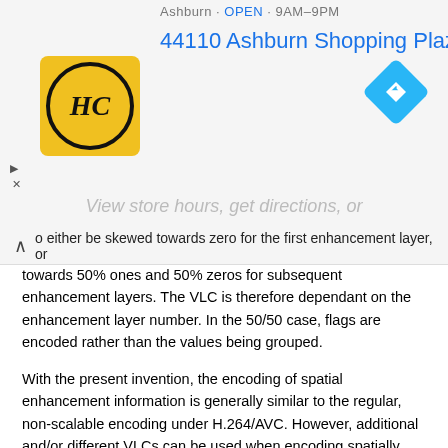Ashburn · OPEN · 9AM–9PM
44110 Ashburn Shopping Plaza 190, A…
View store hours, get directions, or
o either be skewed towards zero for the first enhancement layer, or towards 50% ones and 50% zeros for subsequent enhancement layers. The VLC is therefore dependant on the enhancement layer number. In the 50/50 case, flags are encoded rather than the values being grouped.
With the present invention, the encoding of spatial enhancement information is generally similar to the regular, non-scalable encoding under H.264/AVC. However, additional and/or different VLCs can be used when encoding spatially upsampled information, and that the context that is used can be based on lower-layer information rather than the spatial neighbors.
In general, for a given VLC, the average number of bits required for each symbol is R=∑v∈Xp(v)L(v),
where p(v) is the probability of symbol v drawn from alphabet X, and L(v) is the length of the codeword assigned to symbol v. This equation can be extended to describe a VLC where a group (or 'vector') of symbols are encoded together as R=1N∑p(v_)L(v_).
In this equation, N is the number of symbols to be grouped, {overscore (v)}= {v_1, v_2, ..., v_N}, i.e., a vector of symbols, and the sum is over all possible